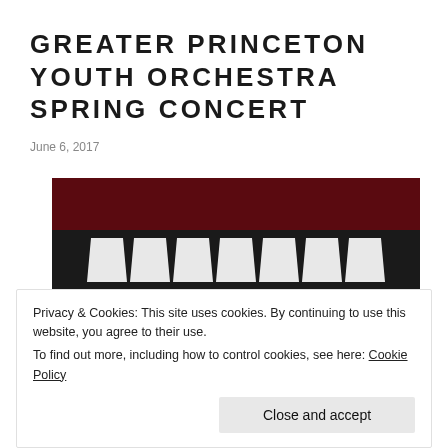GREATER PRINCETON YOUTH ORCHESTRA SPRING CONCERT
June 6, 2017
[Figure (photo): Photo of a concert hall stage with music stands (white angled panels) against a dark red/maroon background — appears to be an orchestra setup before a performance.]
Privacy & Cookies: This site uses cookies. By continuing to use this website, you agree to their use.
To find out more, including how to control cookies, see here: Cookie Policy
Close and accept